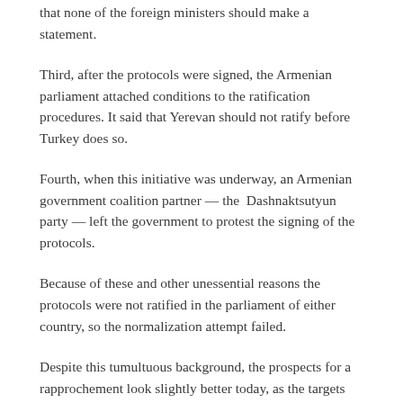that none of the foreign ministers should make a statement.
Third, after the protocols were signed, the Armenian parliament attached conditions to the ratification procedures. It said that Yerevan should not ratify before Turkey does so.
Fourth, when this initiative was underway, an Armenian government coalition partner — the Dashnaktsutyun party — left the government to protest the signing of the protocols.
Because of these and other unessential reasons the protocols were not ratified in the parliament of either country, so the normalization attempt failed.
Despite this tumultuous background, the prospects for a rapprochement look slightly better today, as the targets are less ambitious. A first round of talks was held in Moscow on Friday and normalization will begin with the launch of commercial flights between Istanbul and Yerevan. The first flight is scheduled for Feb. 2. This is a less controversial area because